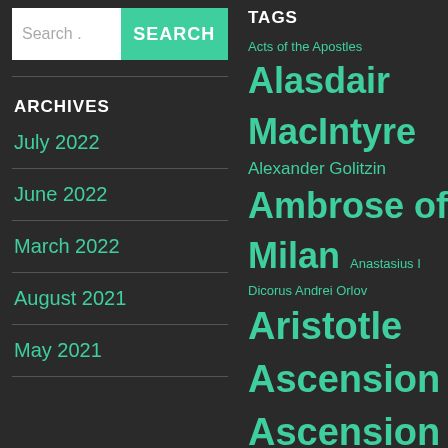Search . SEARCH
ARCHIVES
July 2022
June 2022
March 2022
August 2021
May 2021
TAGS
Acts of the Apostles Alasdair MacIntyre Alexander Golitzin Ambrose of Milan Anastasius I Dicorus Andrei Orlov Aristotle Ascension Ascension of Christ Astrology Augustine of